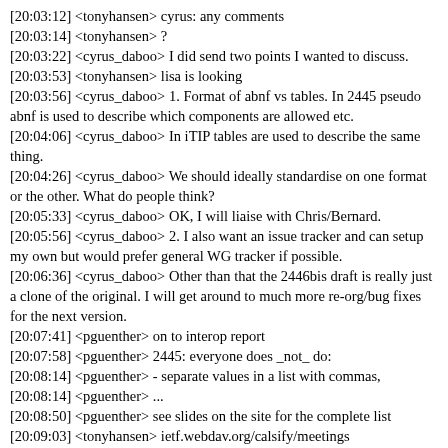[20:03:12] <tonyhansen> cyrus: any comments
[20:03:14] <tonyhansen> ?
[20:03:22] <cyrus_daboo> I did send two points I wanted to discuss.
[20:03:53] <tonyhansen> lisa is looking
[20:03:56] <cyrus_daboo> 1. Format of abnf vs tables. In 2445 pseudo abnf is used to describe which components are allowed etc.
[20:04:06] <cyrus_daboo> In iTIP tables are used to describe the same thing.
[20:04:26] <cyrus_daboo> We should ideally standardise on one format or the other. What do people think?
[20:05:33] <cyrus_daboo> OK, I will liaise with Chris/Bernard.
[20:05:56] <cyrus_daboo> 2. I also want an issue tracker and can setup my own but would prefer general WG tracker if possible.
[20:06:36] <cyrus_daboo> Other than that the 2446bis draft is really just a clone of the original. I will get around to much more re-org/bug fixes for the next version.
[20:07:41] <pguenther> on to interop report
[20:07:58] <pguenther> 2445: everyone does _not_ do:
[20:08:14] <pguenther> - separate values in a list with commas,
[20:08:14] <pguenther> ...
[20:08:50] <pguenther> see slides on the site for the complete list
[20:09:03] <tonyhansen> ietf.webdav.org/calsify/meetings
[20:09:43] <pguenther> 9 orgs and sep interop
[20:10:00] <pguenther> s/and/at/